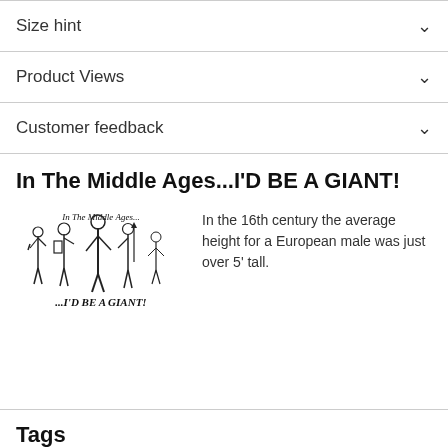Size hint
Product Views
Customer feedback
In The Middle Ages...I'D BE A GIANT!
[Figure (illustration): Black and white illustration of medieval knights and soldiers with text 'In The Middle Ages... ...I'D BE A GIANT!']
In the 16th century the average height for a European male was just over 5' tall.
Tags